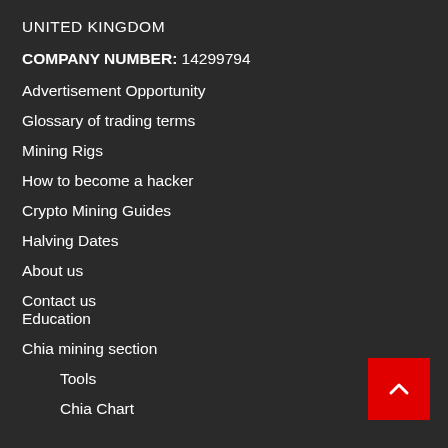UNITED KINGDOM
COMPANY NUMBER: 14299794
Advertisement Opportunity
Glossary of trading terms
Mining Rigs
How to become a hacker
Crypto Mining Guides
Halving Dates
About us
Contact us
Education
Chia mining section
Tools
Chia Chart